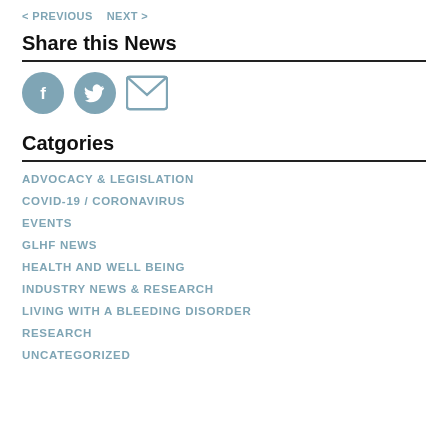< PREVIOUS   NEXT >
Share this News
[Figure (illustration): Three social sharing icons: Facebook (circular teal icon with 'f'), Twitter (circular teal icon with bird), and Email (teal envelope icon)]
Catgories
ADVOCACY & LEGISLATION
COVID-19 / CORONAVIRUS
EVENTS
GLHF NEWS
HEALTH AND WELL BEING
INDUSTRY NEWS & RESEARCH
LIVING WITH A BLEEDING DISORDER
RESEARCH
UNCATEGORIZED